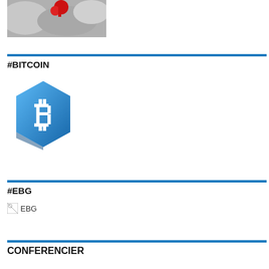[Figure (photo): Partial photo showing red and grey abstract shapes, top-left area]
#BITCOIN
[Figure (logo): Bitcoin logo: blue hexagonal shape with white Bitcoin 'B' symbol]
#EBG
[Figure (logo): EBG image placeholder with broken image icon and alt text 'EBG']
CONFERENCIER